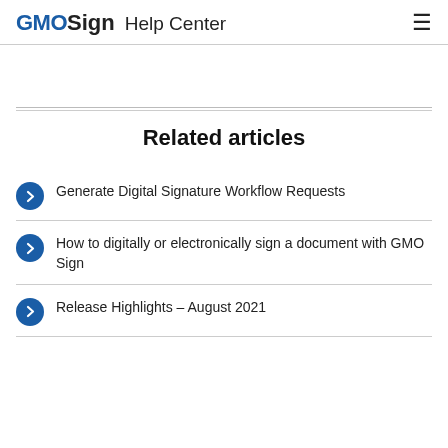GMOSign Help Center
Related articles
Generate Digital Signature Workflow Requests
How to digitally or electronically sign a document with GMO Sign
Release Highlights – August 2021